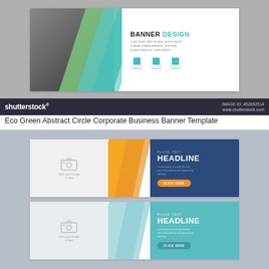[Figure (illustration): Shutterstock stock image preview of an Eco Green Abstract Circle Corporate Business Banner Template. Shows a wide horizontal banner with a dark photo on the left, green and teal diagonal geometric shapes in the center, and white area on the right with 'BANNER DESIGN' text and icons. Shutterstock watermark bar at bottom with logo and image ID 452692514.]
Eco Green Abstract Circle Corporate Business Banner Template
[Figure (illustration): Shutterstock stock image preview showing two business banner templates stacked vertically. Top banner has a white/gray left section with camera placeholder icon, orange diagonal shapes, and dark blue right section with 'HEADLINE' text and orange CLICK HERE button. Bottom banner is similar layout but with light blue/teal color scheme.]